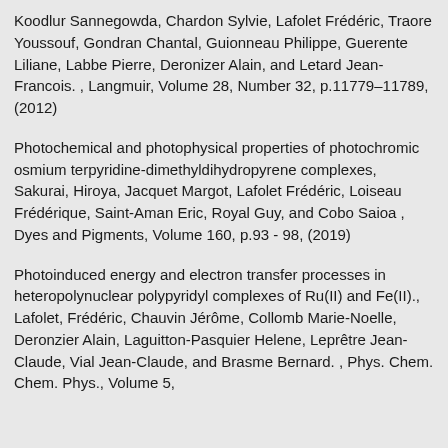Koodlur Sannegowda, Chardon Sylvie, Lafolet Frédéric, Traore Youssouf, Gondran Chantal, Guionneau Philippe, Guerente Liliane, Labbe Pierre, Deronizer Alain, and Letard Jean-Francois. , Langmuir, Volume 28, Number 32, p.11779–11789, (2012)
Photochemical and photophysical properties of photochromic osmium terpyridine-dimethyldihydropyrene complexes, Sakurai, Hiroya, Jacquet Margot, Lafolet Frédéric, Loiseau Frédérique, Saint-Aman Eric, Royal Guy, and Cobo Saioa , Dyes and Pigments, Volume 160, p.93 - 98, (2019)
Photoinduced energy and electron transfer processes in heteropolynuclear polypyridyl complexes of Ru(II) and Fe(II)., Lafolet, Frédéric, Chauvin Jérôme, Collomb Marie-Noelle, Deronzier Alain, Laguitton-Pasquier Helene, Leprêtre Jean-Claude, Vial Jean-Claude, and Brasme Bernard. , Phys. Chem. Chem. Phys., Volume 5,